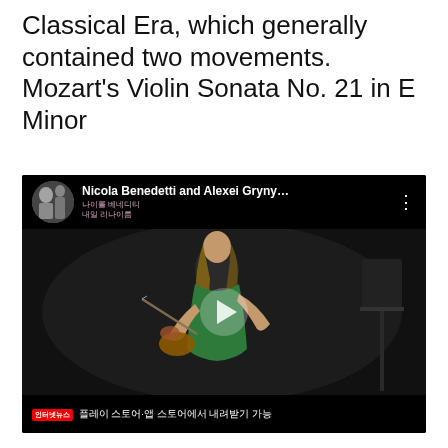Classical Era, which generally contained two movements.  Mozart's Violin Sonata No. 21 in E Minor
[Figure (screenshot): YouTube video thumbnail showing Nicola Benedetti playing violin in a green dress on a dark stage, with the video title 'Nicola Benedetti and Alexei Gryny…' and KBS1 watermark. Korean subtitle text reads: 인터넷뉴스 플레이 스토어·앱 스토어에서 내려받기 가능. A play button is visible in the center.]